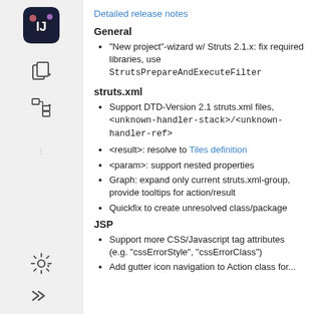[Figure (logo): IntelliJ IDEA logo icon, circular dark badge with IJ letters]
[Figure (illustration): Sidebar icons: copy/paste icon with dropdown arrow, tree/hierarchy icon with dropdown arrow, three vertical dots, gear/settings icon with dropdown arrow, double right arrows]
Detailed release notes
General
"New project"-wizard w/ Struts 2.1.x: fix required libraries, use StrutsPrepareAndExecuteFilter
struts.xml
Support DTD-Version 2.1 struts.xml files, <unknown-handler-stack>/<unknown-handler-ref>
<result>: resolve to Tiles definition
<param>: support nested properties
Graph: expand only current struts.xml-group, provide tooltips for action/result
Quickfix to create unresolved class/package
JSP
Support more CSS/Javascript tag attributes (e.g. "cssErrorStyle", "cssErrorClass")
Add gutter icon navigation to Action class for...